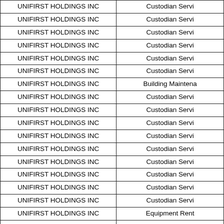| Vendor | Description |
| --- | --- |
| UNIFIRST HOLDINGS INC | Custodian Servi… |
| UNIFIRST HOLDINGS INC | Custodian Servi… |
| UNIFIRST HOLDINGS INC | Custodian Servi… |
| UNIFIRST HOLDINGS INC | Custodian Servi… |
| UNIFIRST HOLDINGS INC | Custodian Servi… |
| UNIFIRST HOLDINGS INC | Custodian Servi… |
| UNIFIRST HOLDINGS INC | Building Maintena… |
| UNIFIRST HOLDINGS INC | Custodian Servi… |
| UNIFIRST HOLDINGS INC | Custodian Servi… |
| UNIFIRST HOLDINGS INC | Custodian Servi… |
| UNIFIRST HOLDINGS INC | Custodian Servi… |
| UNIFIRST HOLDINGS INC | Custodian Servi… |
| UNIFIRST HOLDINGS INC | Custodian Servi… |
| UNIFIRST HOLDINGS INC | Custodian Servi… |
| UNIFIRST HOLDINGS INC | Custodian Servi… |
| UNIFIRST HOLDINGS INC | Custodian Servi… |
| UNIFIRST HOLDINGS INC | Equipment Rent… |
| UNITED HEALTHCARE BENEFITS OF | Medical Premiu… |
| UNITED INTERPRETATION AND | Interpreter Fee… |
| UNTHSC-CENTER FOR ANATOMICAL | County Burials… |
| UPS/UNITED PARCEL SERVICE | Postage |
| UTAK LABORATORIES INC | Lab Supplies |
| VALERIE K ALLEN | Reporter's Recor… |
| VARGHESE SUMMERSETT PLLC | Counsel Fees - C… |